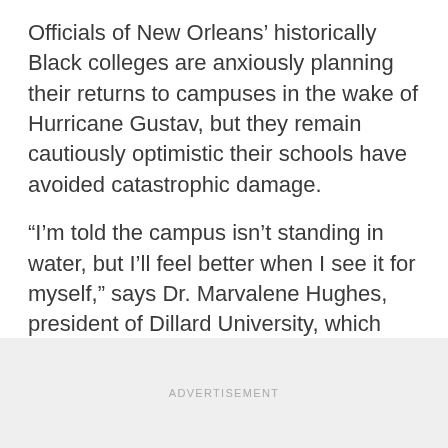Officials of New Orleans' historically Black colleges are anxiously planning their returns to campuses in the wake of Hurricane Gustav, but they remain cautiously optimistic their schools have avoided catastrophic damage.
“I’m told the campus isn’t standing in water, but I’ll feel better when I see it for myself,” says Dr. Marvalene Hughes, president of Dillard University, which became submerged in six to 10 feet of floodwaters from Hurricane Katrina barely three years ago.
ADVERTISEMENT